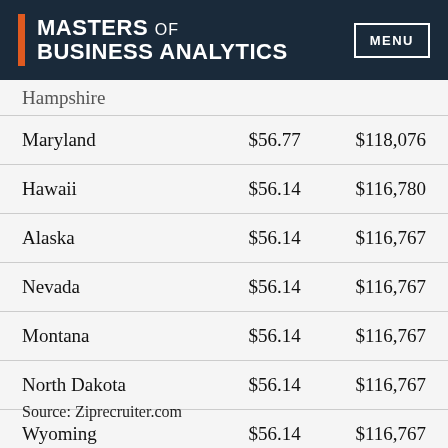MASTERS OF BUSINESS ANALYTICS | MENU
| State | Hourly | Annual |
| --- | --- | --- |
| Hampshire |  |  |
| Maryland | $56.77 | $118,076 |
| Hawaii | $56.14 | $116,780 |
| Alaska | $56.14 | $116,767 |
| Nevada | $56.14 | $116,767 |
| Montana | $56.14 | $116,767 |
| North Dakota | $56.14 | $116,767 |
| Wyoming | $56.14 | $116,767 |
Source: Ziprecruiter.com